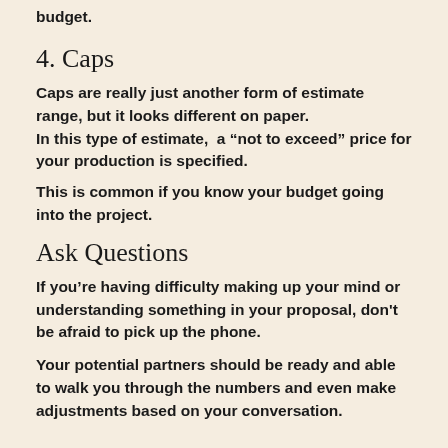budget.
4. Caps
Caps are really just another form of estimate range, but it looks different on paper.
In this type of estimate,  a “not to exceed” price for your production is specified.
This is common if you know your budget going into the project.
Ask Questions
If you’re having difficulty making up your mind or understanding something in your proposal, don’t be afraid to pick up the phone.
Your potential partners should be ready and able to walk you through the numbers and even make adjustments based on your conversation.